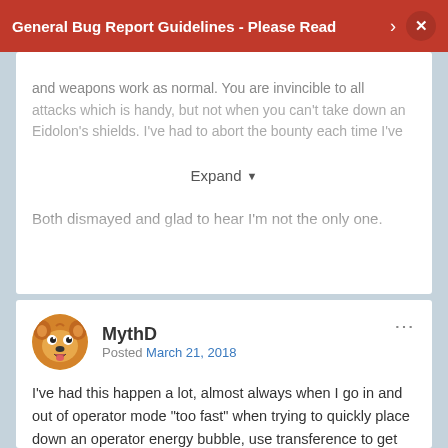General Bug Report Guidelines - Please Read
and weapons work as normal. You are invincible to all attacks which is handy, but not when you can't take down an Eidolon's shields. I've had to abort the bounty each time I've
Expand
Both dismayed and glad to hear I'm not the only one.
MythD
Posted March 21, 2018
I've had this happen a lot, almost always when I go in and out of operator mode "too fast" when trying to quickly place down an operator energy bubble, use transference to get my frame in it, and transference to continue fighting an eidolon; it'll keep me in the invincible state unable to use transference for the rest of the session.